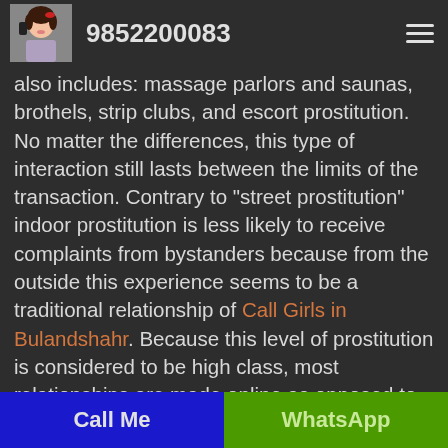9852200083
also includes: massage parlors and saunas, brothels, strip clubs, and escort prostitution. No matter the differences, this type of interaction still lasts between the limits of the transaction. Contrary to "street prostitution" indoor prostitution is less likely to receive complaints from bystanders because from the outside this experience seems to be a traditional relationship of Call Girls in Bulandshahr. Because this level of prostitution is considered to be high class, most relationships are made online as opposed to the traditional idea of prostitution where the client
Call Me | WhatsApp